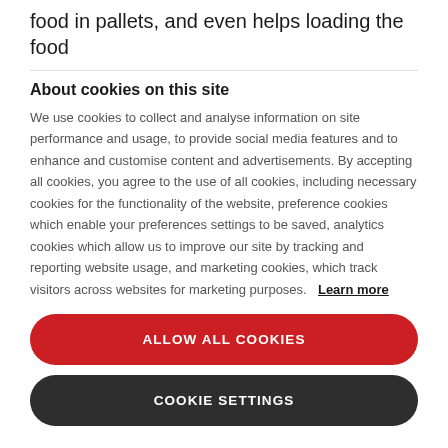food in pallets, and even helps loading the food
About cookies on this site
We use cookies to collect and analyse information on site performance and usage, to provide social media features and to enhance and customise content and advertisements. By accepting all cookies, you agree to the use of all cookies, including necessary cookies for the functionality of the website, preference cookies which enable your preferences settings to be saved, analytics cookies which allow us to improve our site by tracking and reporting website usage, and marketing cookies, which track visitors across websites for marketing purposes. Learn more
ALLOW ALL COOKIES
COOKIE SETTINGS